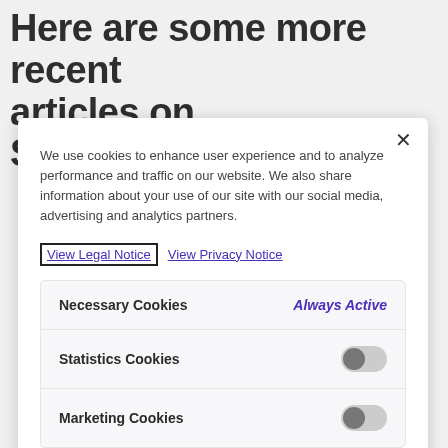Here are some more recent articles on Sustainability
We use cookies to enhance user experience and to analyze performance and traffic on our website. We also share information about your use of our site with our social media, advertising and analytics partners.
View Legal Notice   View Privacy Notice
| Cookie Type | Status |
| --- | --- |
| Necessary Cookies | Always Active |
| Statistics Cookies | [toggle off] |
| Marketing Cookies | [toggle off] |
Accept All Cookies